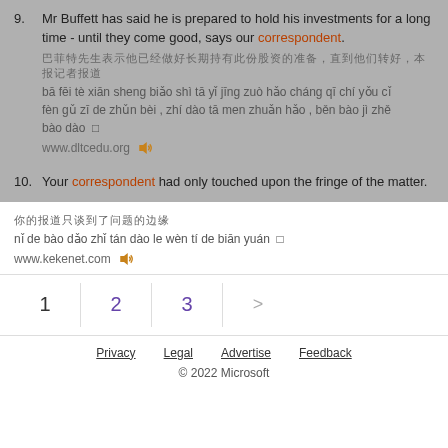9. Mr Buffett has said he is prepared to hold his investments for a long time - until they come good, says our correspondent.
bā fēi tè xiān sheng biǎo shì tā yǐ jīng zuò hǎo cháng qī chí yǒu cǐ fèn gǔ zī de zhǔn bèi , zhí dào tā men zhuǎn hǎo , běn bào jì zhě bào dào
www.dltcedu.org
10. Your correspondent had only touched upon the fringe of the matter.
nǐ de bào dǎo zhǐ tán dào le wèn tí de biān yuán
www.kekenet.com
1 2 3 >
Privacy   Legal   Advertise   Feedback
© 2022 Microsoft